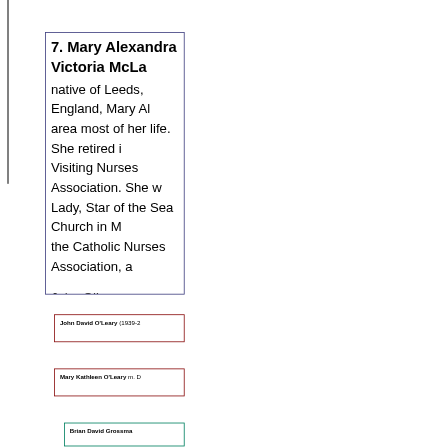7. Mary Alexandra Victoria McLa... native of Leeds, England, Mary Al... area most of her life. She retired i... Visiting Nurses Association. She w... Lady, Star of the Sea Church in M... the Catholic Nurses Association, a...
John O'Leary was a native of Butt... graduate of Solvay High School. H... years with American Linen Supply...
The couple had two children:
John David O'Leary (1939-2...
Mary Kathleen O'Leary m. D...
Brian David Grossma...